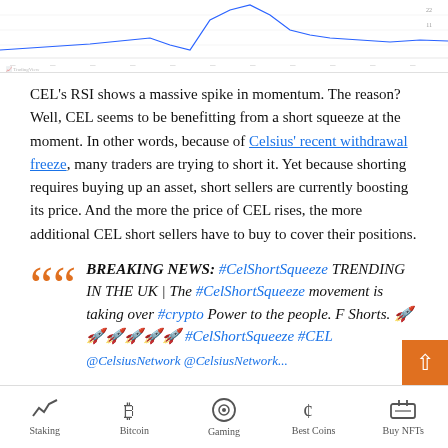[Figure (continuous-plot): CEL RSI chart strip showing a price/momentum line chart at the top of the page, with a line waving across and axis labels along the bottom. TradingView watermark visible.]
CEL's RSI shows a massive spike in momentum. The reason? Well, CEL seems to be benefitting from a short squeeze at the moment. In other words, because of Celsius' recent withdrawal freeze, many traders are trying to short it. Yet because shorting requires buying up an asset, short sellers are currently boosting its price. And the more the price of CEL rises, the more additional CEL short sellers have to buy to cover their positions.
BREAKING NEWS: #CelShortSqueeze TRENDING IN THE UK | The #CelShortSqueeze movement is taking over #crypto Power to the people. F Shorts. 🚀🚀🚀🚀🚀🚀 #CelShortSqueeze #CEL
Staking   Bitcoin   Gaming   Best Coins   Buy NFTs